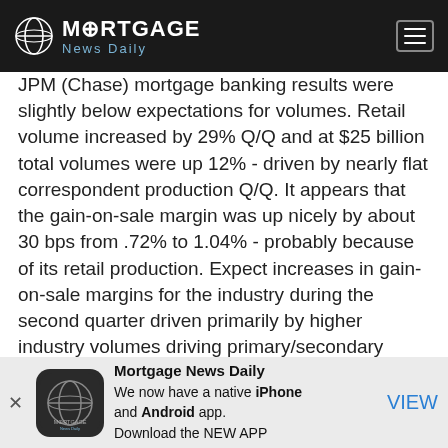Mortgage News Daily
JPM (Chase) mortgage banking results were slightly below expectations for volumes. Retail volume increased by 29% Q/Q and at $25 billion total volumes were up 12% - driven by nearly flat correspondent production Q/Q. It appears that the gain-on-sale margin was up nicely by about 30 bps from .72% to 1.04% - probably because of its retail production. Expect increases in gain-on-sale margins for the industry during the second quarter driven primarily by higher industry volumes driving primary/secondary spreads wider.
Mortgage News Daily
We now have a native iPhone and Android app.
Download the NEW APP
VIEW